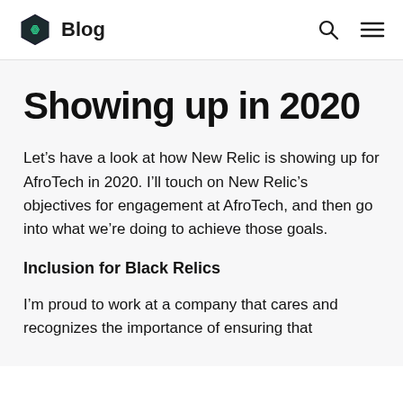Blog
Showing up in 2020
Let's have a look at how New Relic is showing up for AfroTech in 2020. I'll touch on New Relic's objectives for engagement at AfroTech, and then go into what we're doing to achieve those goals.
Inclusion for Black Relics
I'm proud to work at a company that cares and recognizes the importance of ensuring that